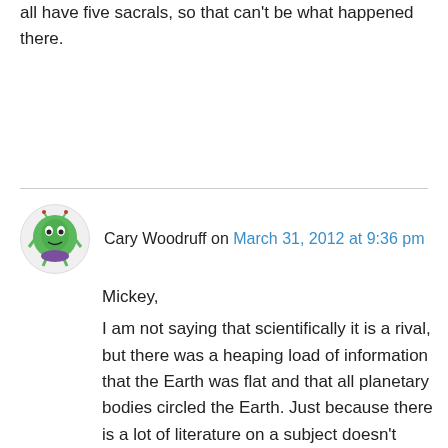all have five sacrals, so that can't be what happened there.
Cary Woodruff on March 31, 2012 at 9:36 pm
Mickey,
I am not saying that scientifically it is a rival, but there was a heaping load of information that the Earth was flat and that all planetary bodies circled the Earth. Just because there is a lot of literature on a subject doesn't automatically make it right. To be honest I'm beginning to think Denver and I must be speaking a different language. Haplocanthosaurus is not a Diplodocus. El Haplo no Diplo. That one sentence is meant to state that ontogeny through